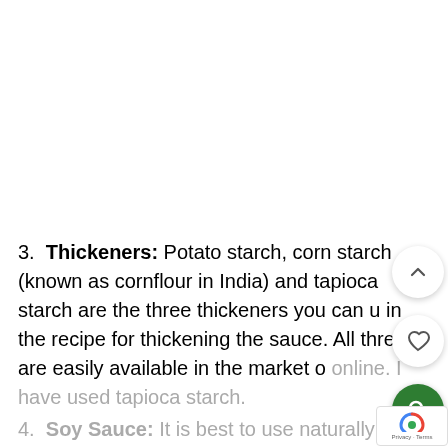3. Thickeners: Potato starch, corn starch (known as cornflour in India) and tapioca starch are the three thickeners you can use in the recipe for thickening the sauce. All three are easily available in the market or online. I have used tapioca starch.
4. Soy Sauce: It is best to use naturally